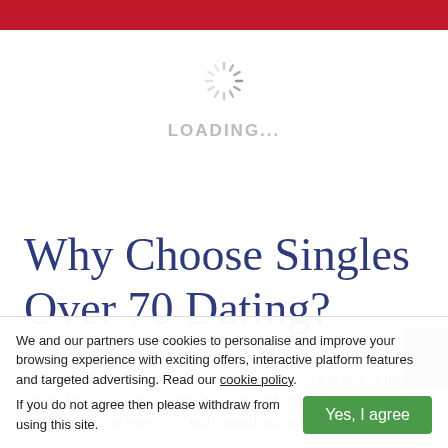[Figure (other): Red header bar at top of page]
[Figure (other): Loading spinner (grey radial lines) with LOADING... text below]
Why Choose Singles Over 70 Dating?
With so many members across the country, ours is one of the South Africa's longest running and most trusted 70+ dating websites for the over 70's, with award-winning customer service.
We and our partners use cookies to personalise and improve your browsing experience with exciting offers, interactive platform features and targeted advertising. Read our cookie policy.
If you do not agree then please withdraw from using this site.